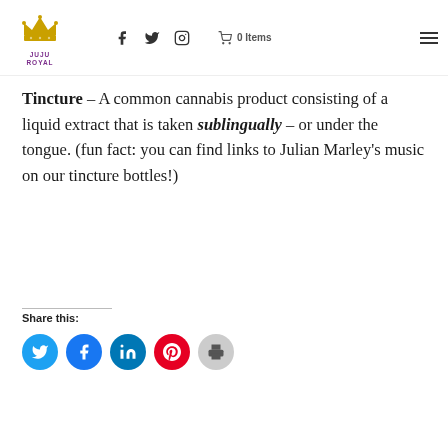Juju Royal — f Twitter Instagram — 0 Items
Tincture – A common cannabis product consisting of a liquid extract that is taken sublingually – or under the tongue. (fun fact: you can find links to Julian Marley's music on our tincture bottles!)
Share this:
[Figure (infographic): Row of social share buttons: Twitter (cyan), Facebook (blue), LinkedIn (blue), Pinterest (red), Print (grey)]